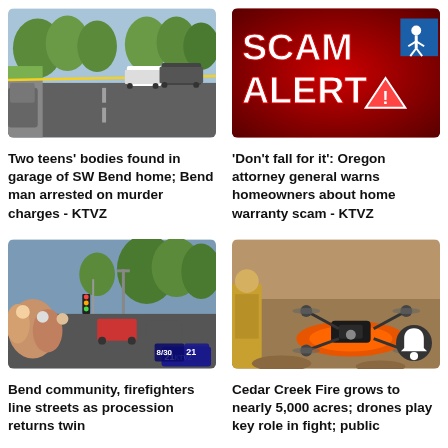[Figure (photo): Crime scene photo showing police tape and vehicles on a residential street lined with trees]
[Figure (photo): SCAM ALERT graphic on red background with warning triangle, accessibility icon visible]
Two teens' bodies found in garage of SW Bend home; Bend man arrested on murder charges - KTVZ
'Don't fall for it': Oregon attorney general warns homeowners about home warranty scam - KTVZ
[Figure (photo): Crowd lining streets for procession, TV21 news logo visible, street with traffic lights and trees]
[Figure (photo): Large drone (hexacopter) on orange landing pad, firefighter in yellow gear nearby on rocky terrain]
Bend community, firefighters line streets as procession returns twin
Cedar Creek Fire grows to nearly 5,000 acres; drones play key role in fight; public